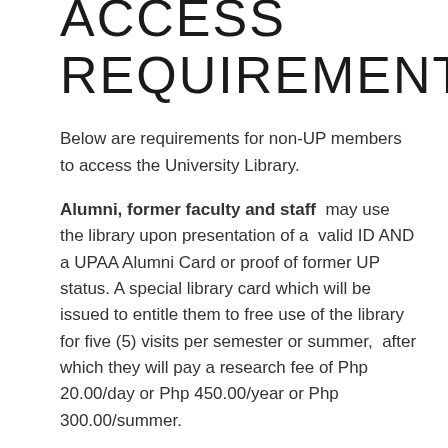ACCESS REQUIREMENTS
Below are requirements for non-UP members to access the University Library.
Alumni, former faculty and staff may use the library upon presentation of a valid ID AND a UPAA Alumni Card or proof of former UP status. A special library card which will be issued to entitle them to free use of the library for five (5) visits per semester or summer, after which they will pay a research fee of Php 20.00/day or Php 450.00/year or Php 300.00/summer.
Government researchers may use the library